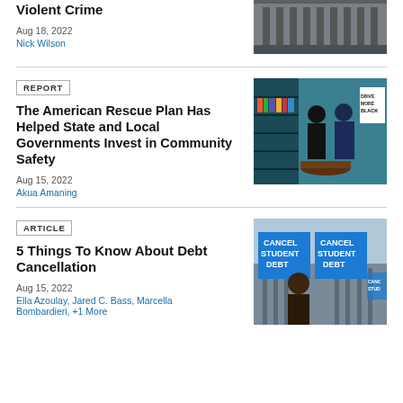Violent Crime
Aug 18, 2022
Nick Wilson
[Figure (photo): Building exterior photograph]
REPORT
The American Rescue Plan Has Helped State and Local Governments Invest in Community Safety
Aug 15, 2022
Akua Amaning
[Figure (photo): People in a bookstore, one appears to be Biden]
ARTICLE
5 Things To Know About Debt Cancellation
Aug 15, 2022
Ella Azoulay, Jared C. Bass, Marcella Bombardieri, +1 More
[Figure (photo): Protesters holding Cancel Student Debt signs]